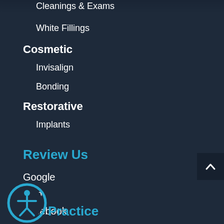Cleanings & Exams
White Fillings
Cosmetic
Invisalign
Bonding
Restorative
Implants
Review Us
Google
Yelp
Facebook
Practice